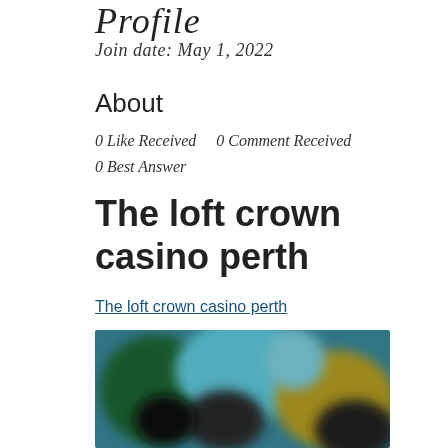Profile
Join date: May 1, 2022
About
0 Like Received    0 Comment Received
0 Best Answer
The loft crown casino perth
The loft crown casino perth
[Figure (photo): Blurred image showing people in a colorful indoor setting, possibly a casino or entertainment venue with green and teal lighting.]